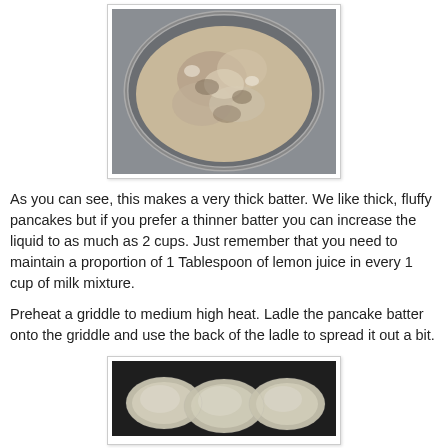[Figure (photo): Top-down view of a thick pancake batter in a glass mixing bowl, on a gray surface.]
As you can see, this makes a very thick batter.  We like thick, fluffy pancakes but if you prefer a thinner batter you can increase the liquid to as much as 2 cups.  Just remember that you need to maintain a proportion of 1 Tablespoon of lemon juice in every 1 cup of milk mixture.
Preheat a griddle to medium high heat.  Ladle the pancake batter onto the griddle and use the back of the ladle to spread it out a bit.
[Figure (photo): Pancake batter ladled onto a dark griddle, showing several round pancakes cooking from above.]